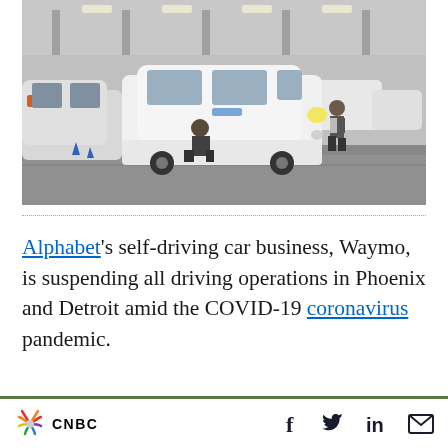[Figure (photo): Interior of a large warehouse or facility with multiple white autonomous/self-driving minivans (Chrysler Pacifica Waymo vehicles). Two people are visible near the vehicles on a concrete floor. The space has high ceilings with industrial lighting.]
Alphabet's self-driving car business, Waymo, is suspending all driving operations in Phoenix and Detroit amid the COVID-19 coronavirus pandemic.
All driving operations have been paused starting
[Figure (logo): CNBC logo with peacock icon on the left, and social media icons (Facebook, Twitter, LinkedIn, Email) on the right in the bottom bar.]